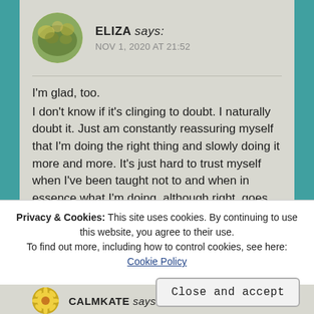[Figure (photo): Circular avatar photo of user Eliza, showing a nature/floral image]
ELIZA says:
NOV 1, 2020 AT 21:52
I'm glad, too.
I don't know if it's clinging to doubt. I naturally doubt it. Just am constantly reassuring myself that I'm doing the right thing and slowly doing it more and more. It's just hard to trust myself when I've been taught not to and when in essence what I'm doing, although right, goes against all I believe. So the external validation helps too.
Privacy & Cookies: This site uses cookies. By continuing to use this website, you agree to their use.
To find out more, including how to control cookies, see here: Cookie Policy
Close and accept
[Figure (photo): Circular avatar photo of user CalmKate, showing a sunflower image]
CALMKATE says: